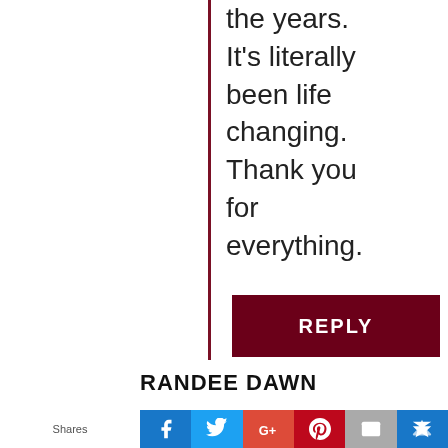the years. It's literally been life changing. Thank you for everything.
REPLY
RANDEE DAWN
Shares
[Figure (other): Social share buttons bar with Facebook, Twitter, Google+, Pinterest, Email, and crown/bookmark icons]